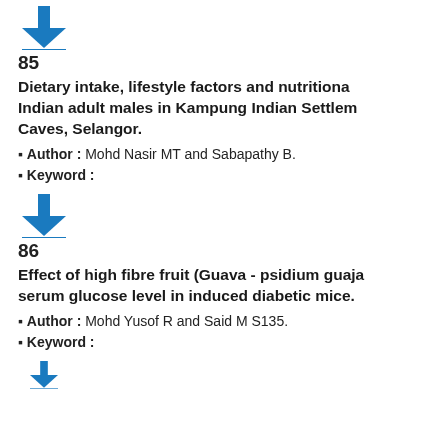[Figure (other): Blue download arrow icon with horizontal bar below]
85
Dietary intake, lifestyle factors and nutritional status of Indian adult males in Kampung Indian Settlement, Batu Caves, Selangor.
Author : Mohd Nasir MT and Sabapathy B.
Keyword :
[Figure (other): Blue download arrow icon with horizontal bar below]
86
Effect of high fibre fruit (Guava - psidium guajava) on serum glucose level in induced diabetic mice.
Author : Mohd Yusof R and Said M S135.
Keyword :
[Figure (other): Blue download arrow icon with horizontal bar below (partial, at bottom)]